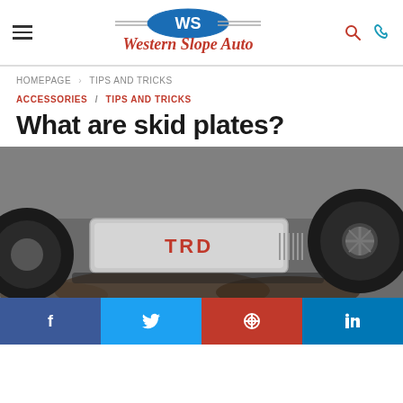Western Slope Auto — navigation header with hamburger menu, logo, search and phone icons
HOMEPAGE > TIPS AND TRICKS
ACCESSORIES / TIPS AND TRICKS
What are skid plates?
[Figure (photo): Undercarriage of a Toyota TRD off-road vehicle showing a silver TRD-branded skid plate, with large off-road tires visible on both sides, vehicle appears to be on rocky terrain]
Social sharing bar with Facebook, Twitter, Pinterest, and LinkedIn buttons